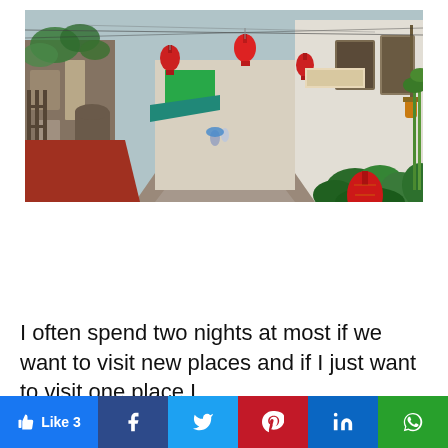[Figure (photo): Street scene of an Asian alley decorated with red lanterns, old colonial-style buildings with ivy, green plants on the right side, and a wet cobblestone path leading into the distance.]
I often spend two nights at most if we want to visit new places and if I just want to visit one place I
This website uses cookies.
[Figure (other): Social share bar with Like 3 button (Facebook blue), Facebook icon (dark blue), Twitter icon (light blue), Pinterest icon (red), LinkedIn icon (blue), WhatsApp icon (green).]